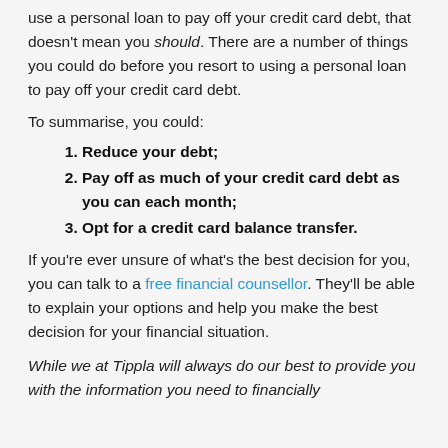use a personal loan to pay off your credit card debt, that doesn't mean you should. There are a number of things you could do before you resort to using a personal loan to pay off your credit card debt.
To summarise, you could:
Reduce your debt;
Pay off as much of your credit card debt as you can each month;
Opt for a credit card balance transfer.
If you're ever unsure of what's the best decision for you, you can talk to a free financial counsellor. They'll be able to explain your options and help you make the best decision for your financial situation.
While we at Tippla will always do our best to provide you with the information you need to financially